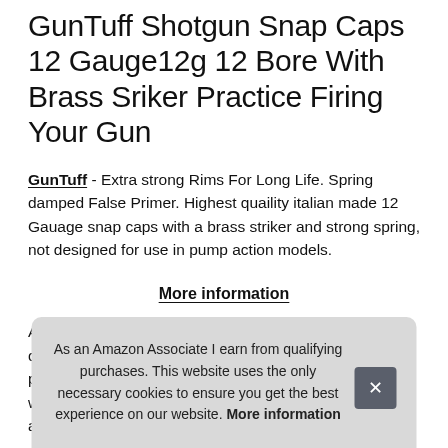GunTuff Shotgun Snap Caps 12 Gauge12g 12 Bore With Brass Sriker Practice Firing Your Gun
GunTuff - Extra strong Rims For Long Life. Spring damped False Primer. Highest quaility italian made 12 Gauage snap caps with a brass striker and strong spring, not designed for use in pump action models.
More information
All d... dam... pin a... with... a pa...
As an Amazon Associate I earn from qualifying purchases. This website uses the only necessary cookies to ensure you get the best experience on our website. More information